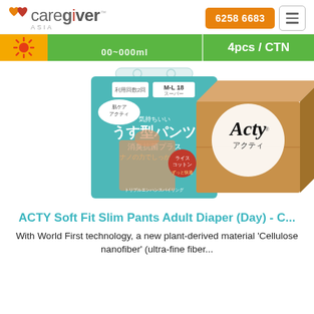[Figure (logo): Caregiver Asia logo with heart icon in orange/red]
6258 6683
[Figure (infographic): Product banner strip with sun icon, partially visible text '00-000m', and green section showing '4pcs / CTN']
[Figure (photo): ACTY Soft Fit Slim Pants Adult Diaper product package (Japanese text) next to a brown cardboard box with Acty logo]
ACTY Soft Fit Slim Pants Adult Diaper (Day) - C...
With World First technology, a new plant-derived material 'Cellulose nanofiber' (ultra-fine fiber...